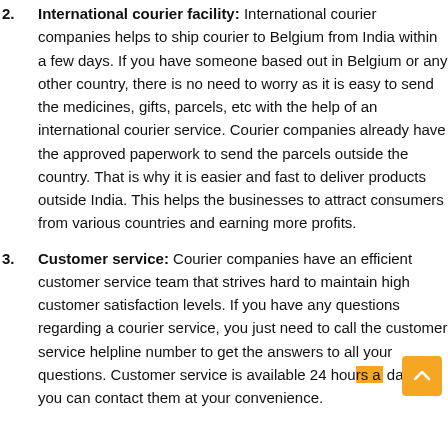International courier facility: International courier companies helps to ship courier to Belgium from India within a few days. If you have someone based out in Belgium or any other country, there is no need to worry as it is easy to send the medicines, gifts, parcels, etc with the help of an international courier service. Courier companies already have the approved paperwork to send the parcels outside the country. That is why it is easier and fast to deliver products outside India. This helps the businesses to attract consumers from various countries and earning more profits.
Customer service: Courier companies have an efficient customer service team that strives hard to maintain high customer satisfaction levels. If you have any questions regarding a courier service, you just need to call the customer service helpline number to get the answers to all your questions. Customer service is available 24 hours a day, so you can contact them at your convenience.